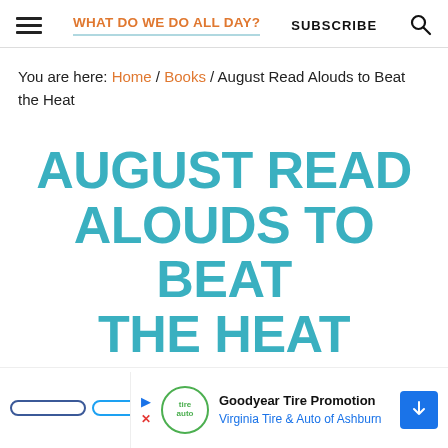WHAT DO WE DO ALL DAY? | SUBSCRIBE
You are here: Home / Books / August Read Alouds to Beat the Heat
AUGUST READ ALOUDS TO BEAT THE HEAT
208 SHARES
[Figure (screenshot): Goodyear Tire Promotion advertisement — Virginia Tire & Auto of Ashburn]